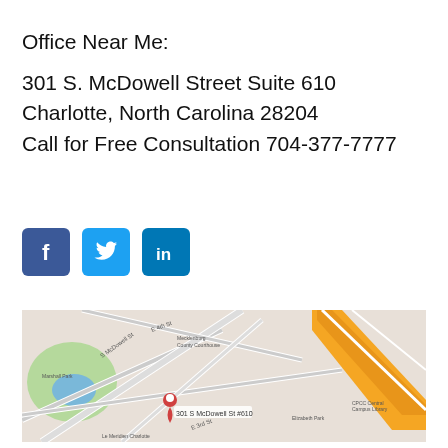Office Near Me:
301 S. McDowell Street Suite 610
Charlotte, North Carolina 28204
Call for Free Consultation 704-377-7777
[Figure (infographic): Social media icons: Facebook (blue square with f), Twitter (light blue square with bird), LinkedIn (blue square with 'in')]
[Figure (map): Google Maps screenshot showing 301 S McDowell St #610 in Charlotte, NC with a red location pin marker, showing surrounding streets including S McDowell Street, E 3rd St, E 4th St, with orange highway visible on right side and green park area on left.]